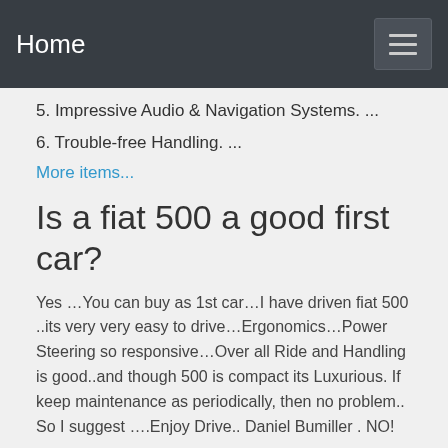Home
5. Impressive Audio & Navigation Systems. ...
6. Trouble-free Handling. ...
More items...
Is a fiat 500 a good first car?
Yes …You can buy as 1st car…I have driven fiat 500 ..its very very easy to drive…Ergonomics…Power Steering so responsive…Over all Ride and Handling is good..and though 500 is compact its Luxurious. If keep maintenance as periodically, then no problem.. So I suggest ….Enjoy Drive.. Daniel Bumiller . NO!
Why buy a fiat 500?
The Fiat 500 is a fun city car that will appeal to a lot of drivers. Although this tiny hatchback is not roomy enough